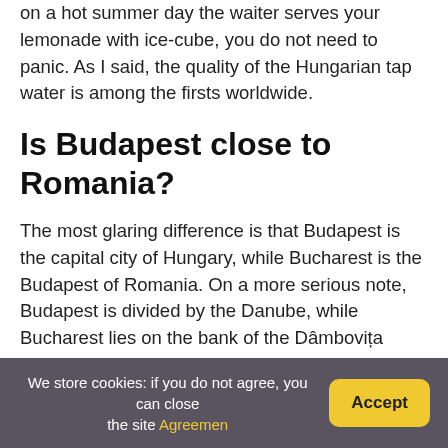on a hot summer day the waiter serves your lemonade with ice-cube, you do not need to panic. As I said, the quality of the Hungarian tap water is among the firsts worldwide.
Is Budapest close to Romania?
The most glaring difference is that Budapest is the capital city of Hungary, while Bucharest is the Budapest of Romania. On a more serious note, Budapest is divided by the Danube, while Bucharest lies on the bank of the Dâmbovița River.
We store cookies: if you do not agree, you can close the site Agreemen   Accept